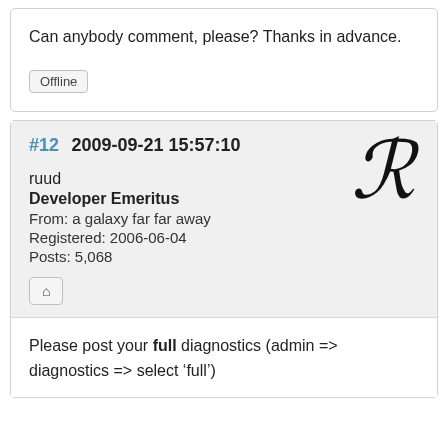Can anybody comment, please? Thanks in advance.
Offline
#12  2009-09-21 15:57:10
ruud
Developer Emeritus
From: a galaxy far far away
Registered: 2006-06-04
Posts: 5,068
Please post your full diagnostics (admin => diagnostics => select ‘full’)